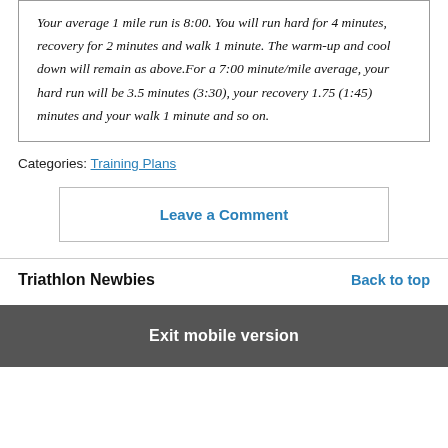Your average 1 mile run is 8:00. You will run hard for 4 minutes, recovery for 2 minutes and walk 1 minute. The warm-up and cool down will remain as above.For a 7:00 minute/mile average, your hard run will be 3.5 minutes (3:30), your recovery 1.75 (1:45) minutes and your walk 1 minute and so on.
Categories: Training Plans
Leave a Comment
Triathlon Newbies
Back to top
Exit mobile version